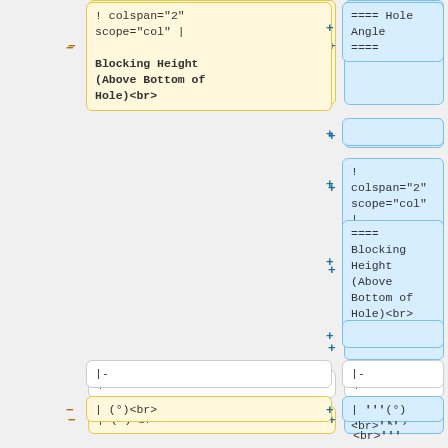[Figure (screenshot): Diff view of wiki markup changes. Left column (yellow/removed) and right column (blue/added) show side-by-side code differences for a table header involving colspan, Hole Angle, and Blocking Height wiki markup. Lower rows show row separator and cell markup changes adding bold formatting.]